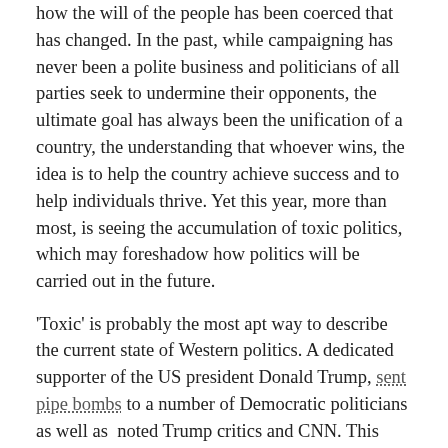how the will of the people has been coerced that has changed. In the past, while campaigning has never been a polite business and politicians of all parties seek to undermine their opponents, the ultimate goal has always been the unification of a country, the understanding that whoever wins, the idea is to help the country achieve success and to help individuals thrive. Yet this year, more than most, is seeing the accumulation of toxic politics, which may foreshadow how politics will be carried out in the future.
'Toxic' is probably the most apt way to describe the current state of Western politics. A dedicated supporter of the US president Donald Trump, sent pipe bombs to a number of Democratic politicians as well as noted Trump critics and CNN. This kind of behaviour is perhaps regarded to be expected in African elections but in the United States this should have been more shocking. Instead, it was described by Trump as this 'bomb stuff' and widely denounced among Republicans as perhaps being a plot by the Democrats to gain voter sympathy. The Southern states have increasingly been found to be preventing those with criminal records from voting by purging them from electoral rolls. Black and Hispanic communities face the usual racial barriers to voting, such as lack of 'appropriate' ID sufficient to vote. Donald Trump, meanwhile, shows many faces. Sad and reflective on national TV regarding the pipe bomb